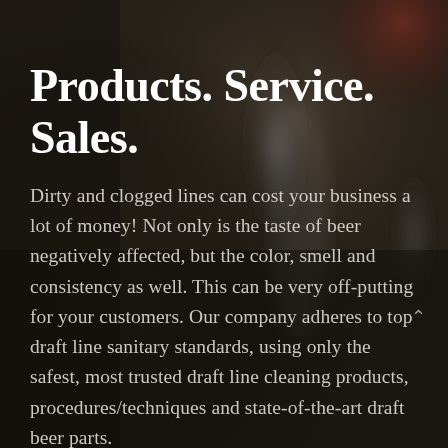Products. Service. Sales.
Dirty and clogged lines can cost your business a lot of money! Not only is the taste of beer negatively affected, but the color, smell and consistency as well. This can be very off-putting for your customers. Our company adheres to top draft line sanitary standards, using only the safest, most trusted draft line cleaning products, procedures/techniques and state-of-the-art draft beer parts.